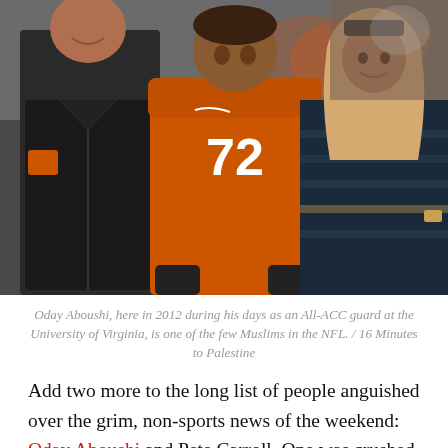[Figure (photo): Oday Aboushi (#72) in an orange University of Virginia football uniform walking with two people — a man in a black leather jacket on the left and a woman wearing a tan hijab and dark striped top on the right. Stadium crowd visible in background.]
Oday Aboushi, here in 2012 during his days as an All-ACC guard at the University of Virginia, is one of the few Muslims in the NFL. / 16 Minutes to Palestine
Add two more to the long list of people anguished over the grim, non-sports news of the weekend: Oday Aboushi and Pete Carroll. One was crushed to see his college hometown awash in hate and blood, the other surprised to see a player